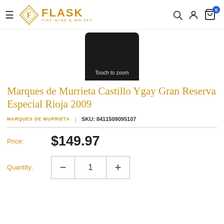[Figure (logo): Flask Fine Wine & Whisky logo with diamond F emblem and golden text]
[Figure (photo): Bottom portion of a dark wine bottle with 'Touch to zoom' overlay label]
Marques de Murrieta Castillo Ygay Gran Reserva Especial Rioja 2009
MARQUES DE MURRIETA | SKU: 8411509095107
Price: $149.97
Quantity: 1